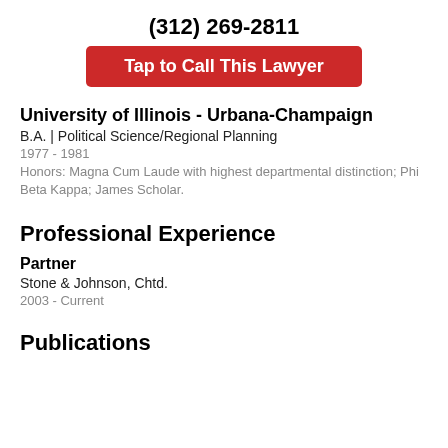(312) 269-2811
[Figure (other): Red button with white text: Tap to Call This Lawyer]
University of Illinois - Urbana-Champaign
B.A. | Political Science/Regional Planning
1977 - 1981
Honors: Magna Cum Laude with highest departmental distinction; Phi Beta Kappa; James Scholar.
Professional Experience
Partner
Stone & Johnson, Chtd.
2003 - Current
Publications